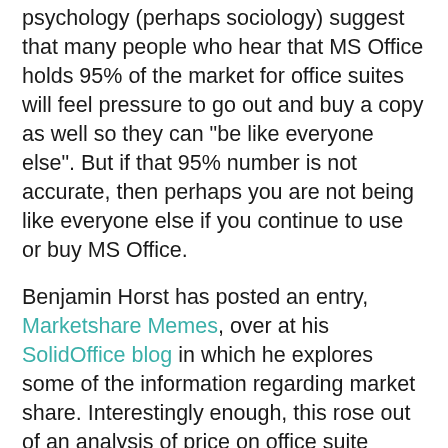psychology (perhaps sociology) suggest that many people who hear that MS Office holds 95% of the market for office suites will feel pressure to go out and buy a copy as well so they can "be like everyone else". But if that 95% number is not accurate, then perhaps you are not being like everyone else if you continue to use or buy MS Office.
Benjamin Horst has posted an entry, Marketshare Memes, over at his SolidOffice blog in which he explores some of the information regarding market share. Interestingly enough, this rose out of an analysis of price on office suite selection. I encourage you to read Horst's article. And of course, I continue to encourage folks to try and adopt OpenOffice.org.
JCauseyFD at 6:41 PM
Share
No comments:
Post a Comment